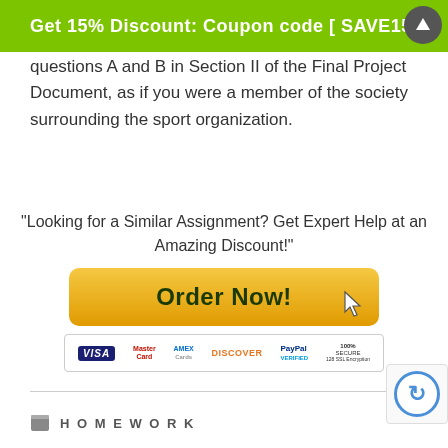Get 15% Discount: Coupon code [ SAVE15 ]
questions A and B in Section II of the Final Project Document, as if you were a member of the society surrounding the sport organization.
"Looking for a Similar Assignment? Get Expert Help at an Amazing Discount!"
[Figure (infographic): Orange gradient 'Order Now!' button with cursor icon and payment logos (VISA, MasterCard, American Express, Discover, PayPal, 100% Secure)]
HOMEWORK